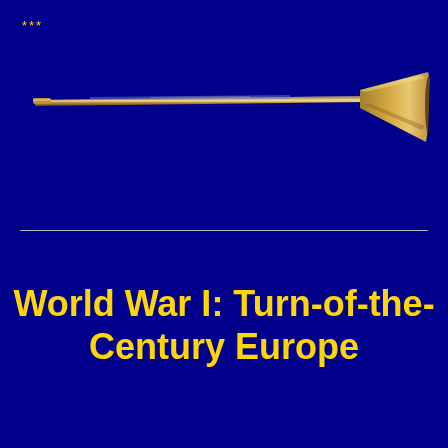***
[Figure (illustration): A long thin trumpet or horn instrument stretching from left to right across the page, with a golden bell on the right end and a narrow mouthpiece end on the left, set against a dark navy blue background with subtle blue highlights.]
World War I: Turn-of-the-Century Europe